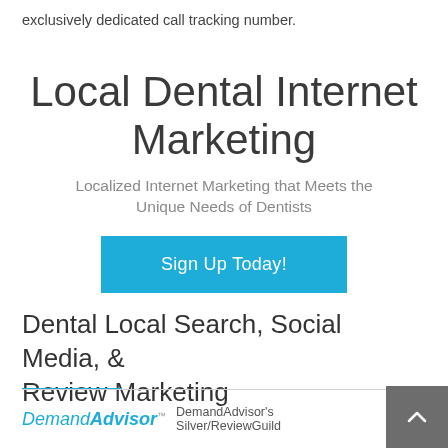exclusively dedicated call tracking number.
Local Dental Internet Marketing
Localized Internet Marketing that Meets the Unique Needs of Dentists
Sign Up Today!
Dental Local Search, Social Media, & Review Marketing
DemandAdvisor™ DemandAdvisor's Silver/ReviewGuild